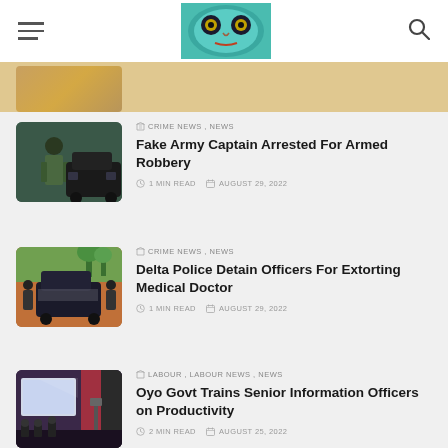Navigation header with hamburger menu, logo image, and search icon
[Figure (photo): Partial top image strip showing brown/sandy colored background]
[Figure (photo): Photo of a person in military camouflage uniform standing near a black SUV]
CRIME NEWS , NEWS
Fake Army Captain Arrested For Armed Robbery
1 MIN READ   AUGUST 29, 2022
[Figure (photo): Photo of armed police officers and a police vehicle on a dirt road with green trees in background]
CRIME NEWS , NEWS
Delta Police Detain Officers For Extorting Medical Doctor
1 MIN READ   AUGUST 29, 2022
[Figure (photo): Photo of a presentation/conference room with a projector screen and attendees]
LABOUR , LABOUR NEWS , NEWS
Oyo Govt Trains Senior Information Officers on Productivity
2 MIN READ   AUGUST 25, 2022